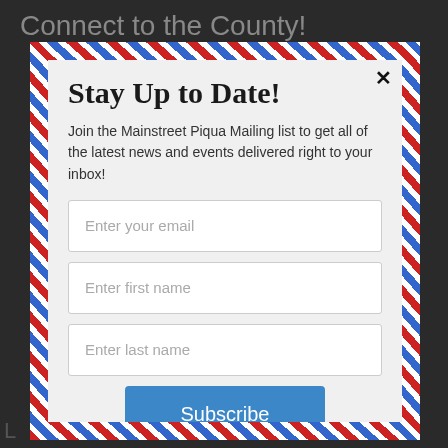Connect to the County!
Stay Up to Date!
Join the Mainstreet Piqua Mailing list to get all of the latest news and events delivered right to your inbox!
[Figure (screenshot): Web form modal with airmail border design containing three input fields (Enter your email, Enter first name, Enter last name) and a Subscribe button]